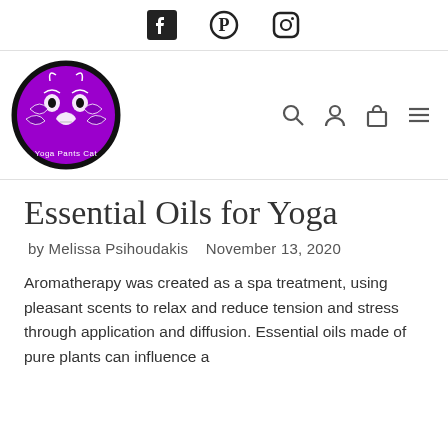[Facebook icon] [Pinterest icon] [Instagram icon]
[Figure (logo): Yoga Pants Cat circular logo with purple background featuring an owl/cat skull face design with decorative elements, text 'Yoga Pants Cat' at bottom]
Essential Oils for Yoga
by Melissa Psihoudakis   November 13, 2020
Aromatherapy was created as a spa treatment, using pleasant scents to relax and reduce tension and stress through application and diffusion. Essential oils made of pure plants can influence a